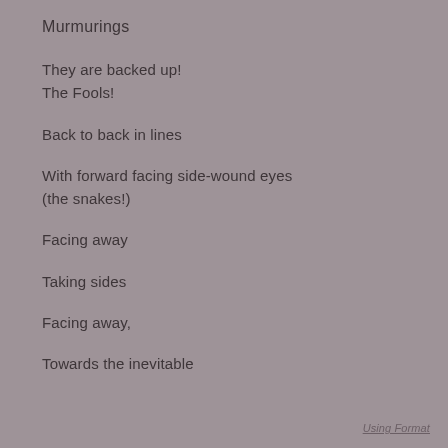Murmurings
They are backed up!
The Fools!
Back to back in lines
With forward facing side-wound eyes
(the snakes!)
Facing away
Taking sides
Facing away,
Towards the inevitable
Using Format